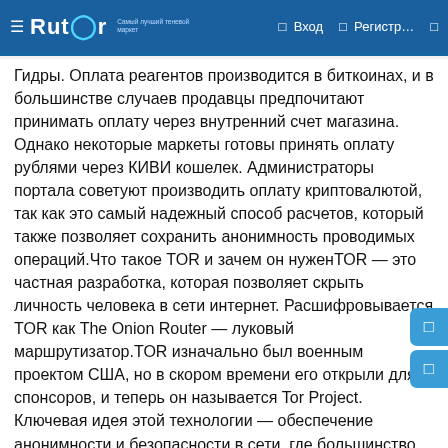Rutor | Вход | Регистр…
Гидры. Оплата реагентов производится в биткоинах, и в большинстве случаев продавцы предпочитают принимать оплату через внутренний счет магазина. Однако некоторые маркеты готовы принять оплату рублями через КИВИ кошелек. Администраторы портала советуют производить оплату криптовалютой, так как это самый надежный способ расчетов, который также позволяет сохранить анонимность проводимых операций.Что такое TOR и зачем он нуженTOR — это частная разработка, которая позволяет скрыть личность человека в сети интернет. Расшифровывается TOR как The Onion Router — луковый маршрутизатор.TOR изначально был военным проектом США, но в скором времени его открыли для спонсоров, и теперь он называется Tor Project. Ключевая идея этой технологии — обеспечение анонимности и безопасности в сети, где большинство участников не верят друг другу. Смысл этой сети в том, что информация проходит через несколько компьютеров, шифруются, у них меняется IP-адрес и вы получаете зашифрованный канал передачи данных.Что